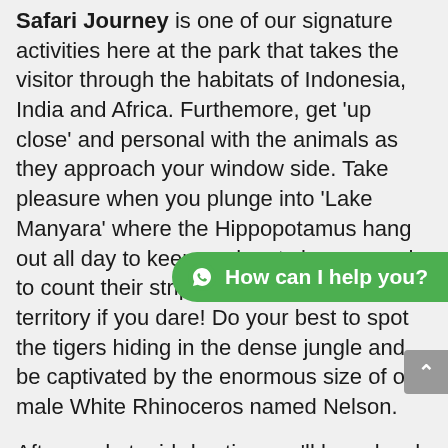Safari Journey is one of our signature activities here at the park that takes the visitor through the habitats of Indonesia, India and Africa. Furthemore, get 'up close' and personal with the animals as they approach your window side. Take pleasure when you plunge into 'Lake Manyara' where the Hippopotamus hang out all day to keep cool, get close enough to count their stripes. Then enter the lion territory if you dare! Do your best to spot the tigers hiding in the dense jungle and be captivated by the enormous size of our male White Rhinoceros named Nelson.
[Figure (other): WhatsApp chat widget button with green rounded pill shape reading 'How can I help you?']
Afterward at mid-day time we'll have lunch in Uma restaurant, International and Asian cuisine buffet specialties prepared freshly